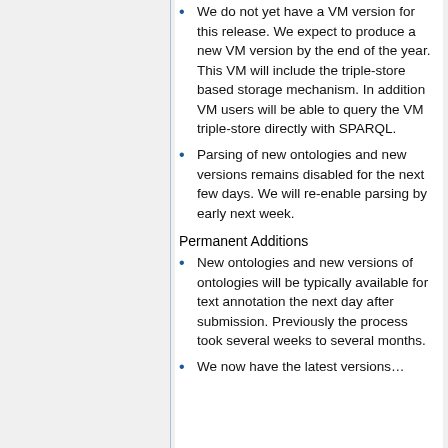We do not yet have a VM version for this release. We expect to produce a new VM version by the end of the year. This VM will include the triple-store based storage mechanism. In addition VM users will be able to query the VM triple-store directly with SPARQL.
Parsing of new ontologies and new versions remains disabled for the next few days. We will re-enable parsing by early next week.
Permanent Additions
New ontologies and new versions of ontologies will be typically available for text annotation the next day after submission. Previously the process took several weeks to several months.
We now have the latest versions…